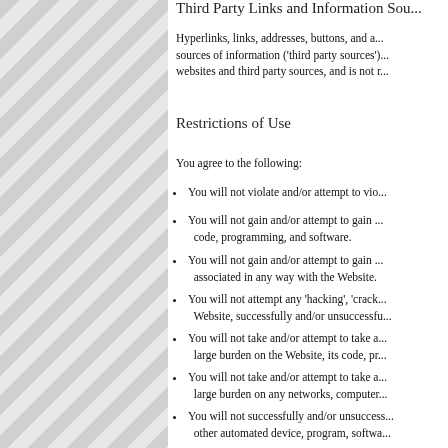Third Party Links and Information Sou...
Hyperlinks, links, addresses, buttons, and a... sources of information ('third party sources')... websites and third party sources, and is not r...
Restrictions of Use
You agree to the following:
You will not violate and/or attempt to vio...
You will not gain and/or attempt to gain ... code, programming, and software.
You will not gain and/or attempt to gain ... associated in any way with the Website.
You will not attempt any 'hacking', 'crack... Website, successfully and/or unsuccessfu...
You will not take and/or attempt to take a... large burden on the Website, its code, pr...
You will not take and/or attempt to take a... large burden on any networks, computer...
You will not successfully and/or unsuccess... other automated device, program, softwa...